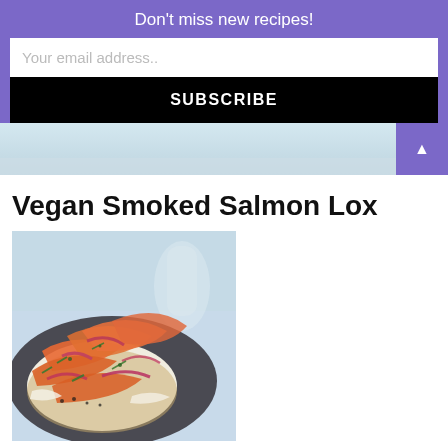Don't miss new recipes!
Your email address..
SUBSCRIBE
[Figure (photo): Top strip of a food photo with light blue background]
Vegan Smoked Salmon Lox
[Figure (photo): Close-up photo of vegan smoked salmon lox on a bagel with cream cheese, thin carrot slices, red onion, and chives on a dark plate]